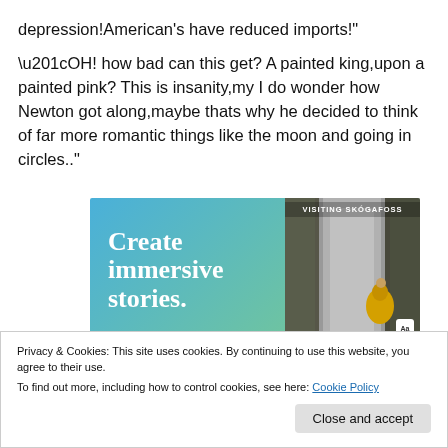depression!American's have reduced imports!"
“OH! how bad can this get? A painted king,upon a painted pink? This is insanity,my I do wonder how Newton got along,maybe thats why he decided to think of far more romantic things like the moon and going in circles..”
[Figure (illustration): Advertisement banner showing 'Create immersive stories.' text on a blue-green gradient background on the left, and a photo of a person near a waterfall (Visiting Skogafoss) on the right.]
Privacy & Cookies: This site uses cookies. By continuing to use this website, you agree to their use.
To find out more, including how to control cookies, see here: Cookie Policy